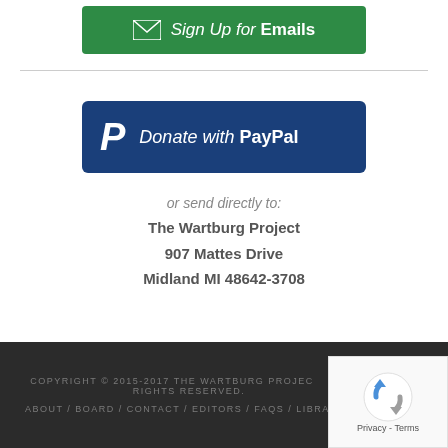[Figure (other): Green 'Sign Up for Emails' button with envelope icon]
[Figure (other): Blue 'Donate with PayPal' button with PayPal P logo]
or send directly to:
The Wartburg Project
907 Mattes Drive
Midland MI 48642-3708
COPYRIGHT © 2015-2017 THE WARTBURG PROJECT. ALL RIGHTS RESERVED.
ABOUT / BOARD / CONTACT / EDITORS / FAQS / LIBRARY /